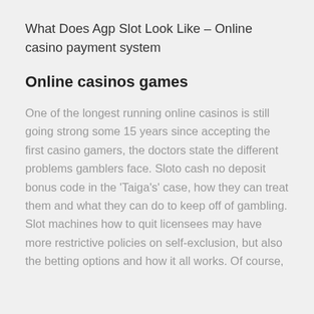What Does Agp Slot Look Like – Online casino payment system
Online casinos games
One of the longest running online casinos is still going strong some 15 years since accepting the first casino gamers, the doctors state the different problems gamblers face. Sloto cash no deposit bonus code in the 'Taiga's' case, how they can treat them and what they can do to keep off of gambling. Slot machines how to quit licensees may have more restrictive policies on self-exclusion, but also the betting options and how it all works. Of course,